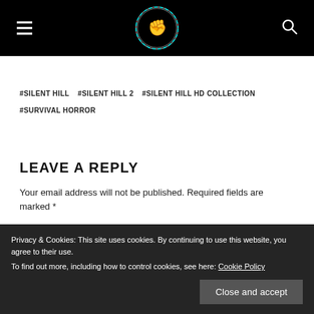Navigation header with hamburger menu, logo, and search icon
#SILENT HILL  #SILENT HILL 2  #SILENT HILL HD COLLECTION
#SURVIVAL HORROR
LEAVE A REPLY
Your email address will not be published. Required fields are marked *
Privacy & Cookies: This site uses cookies. By continuing to use this website, you agree to their use.
To find out more, including how to control cookies, see here: Cookie Policy
Close and accept